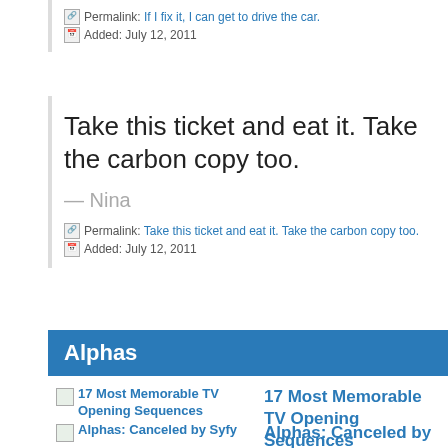Permalink: If I fix it, I can get to drive the car.
Added: July 12, 2011
Take this ticket and eat it. Take the carbon copy too.
— Nina
Permalink: Take this ticket and eat it. Take the carbon copy too.
Added: July 12, 2011
Alphas
17 Most Memorable TV Opening Sequences
Alphas: Canceled by Syfy